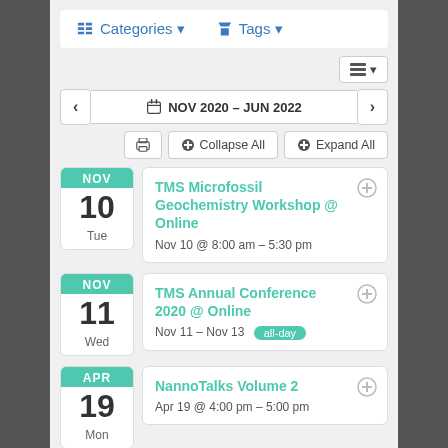Categories ▼   Tags ▼
NOV 2020 – JUN 2022
Collapse All   Expand All
NOV 10 Tue
TMS Microfossil Geochemistry Workshop @ Online
Nov 10 @ 8:00 am – 5:30 pm
NOV 11 Wed
TMS Annual Conference 2020 @ Online
Nov 11 – Nov 13 all-day
APR 19 Mon
NannoTalks Volume 2
Apr 19 @ 4:00 pm – 5:00 pm
JUL